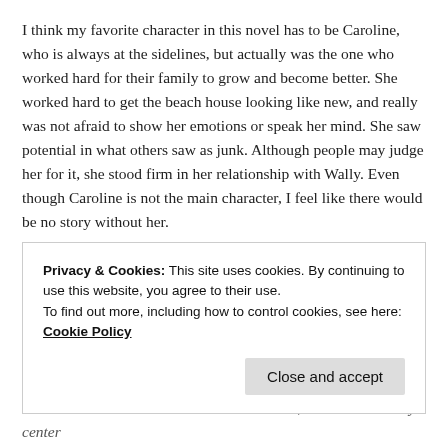I think my favorite character in this novel has to be Caroline, who is always at the sidelines, but actually was the one who worked hard for their family to grow and become better. She worked hard to get the beach house looking like new, and really was not afraid to show her emotions or speak her mind. She saw potential in what others saw as junk. Although people may judge her for it, she stood firm in her relationship with Wally. Even though Caroline is not the main character, I feel like there would be no story without her.
I also fell in love with each of the people from Wish, of course. It's hard not to. I feel like I could really thrive in their chaos, and I love their dynamics within the group. Despite having varying personalities, you could just see that they are a family – getting
The Truth About Forever is a romance novel, but it didn't really center
Privacy & Cookies: This site uses cookies. By continuing to use this website, you agree to their use.
To find out more, including how to control cookies, see here: Cookie Policy